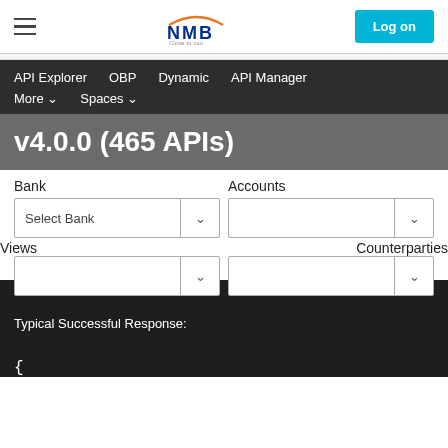NMB - Close to you | Log on
API Explorer  OBP  Dynamic  API Manager  More  Spaces
v4.0.0 (465 APIs)
Bank
Accounts
Select Bank
Views
Counterparties
Typical Successful Response:
{